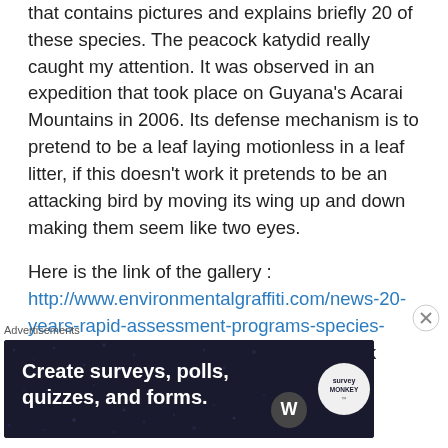that contains pictures and explains briefly 20 of these species. The peacock katydid really caught my attention. It was observed in an expedition that took place on Guyana's Acarai Mountains in 2006. Its defense mechanism is to pretend to be a leaf laying motionless in a leaf litter, if this doesn't work it pretends to be an attacking bird by moving its wing up and down making them seem like two eyes.
Here is the link of the gallery : http://www.environmentalgraffiti.com/news-20-years-rapid-assessment-programs-species-findings?image=3  I encourage you to look more
Advertisements
[Figure (other): Advertisement banner: dark blue background with white bold text 'Create surveys, polls, quizzes, and forms.' with WordPress and other icons on the right side.]